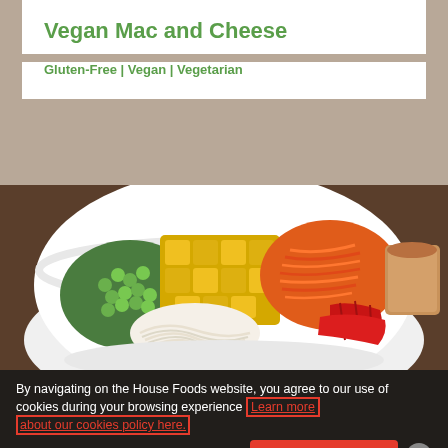Vegan Mac and Cheese
Gluten-Free | Vegan | Vegetarian
[Figure (photo): A white bowl filled with colorful vegetables and noodles: edamame, yellow squash cubes, shredded carrots, red bell pepper strips, rice noodles, with a peanut sauce on the side.]
By navigating on the House Foods website, you agree to our use of cookies during your browsing experience Learn more about our cookies policy here.
✓ Accept Cookies